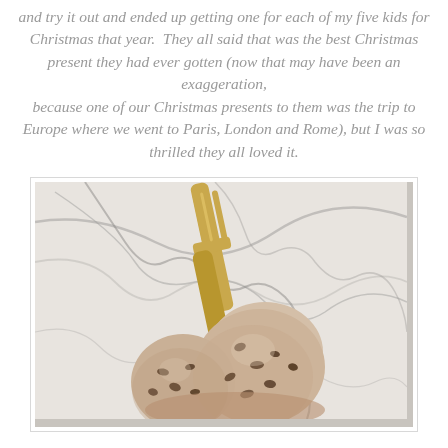and try it out and ended up getting one for each of my five kids for Christmas that year.  They all said that was the best Christmas present they had ever gotten (now that may have been an exaggeration, because one of our Christmas presents to them was the trip to Europe where we went to Paris, London and Rome), but I was so thrilled they all loved it.
[Figure (photo): A photo of scoops of chocolate chip ice cream with a gold spoon on a white marble surface with dark grey veining.]